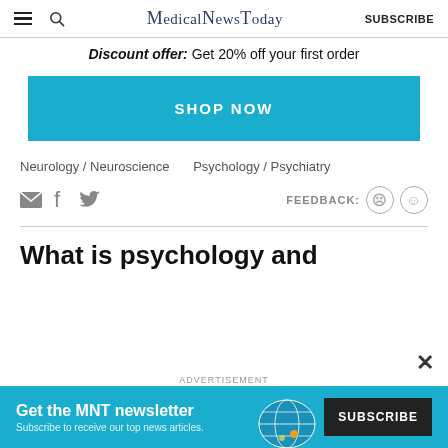MedicalNewsToday  SUBSCRIBE
Discount offer: Get 20% off your first order
[Figure (other): Blue 'SHOP NOW' button]
Neurology / Neuroscience    Psychology / Psychiatry
[Figure (other): Social share icons (email, facebook, twitter) and feedback faces]
What is psychology and
[Figure (other): Advertisement banner: Get the MNT newsletter - Subscribe to receive our top news articles. SUBSCRIBE button.]